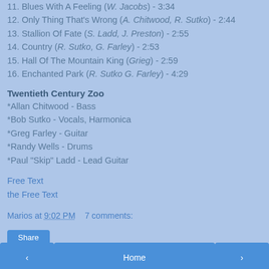11. Blues With A Feeling (W. Jacobs) - 3:34
12. Only Thing That's Wrong (A. Chitwood, R. Sutko) - 2:44
13. Stallion Of Fate (S. Ladd, J. Preston) - 2:55
14. Country (R. Sutko, G. Farley) - 2:53
15. Hall Of The Mountain King (Grieg) - 2:59
16. Enchanted Park (R. Sutko G. Farley) - 4:29
Twentieth Century Zoo
*Allan Chitwood - Bass
*Bob Sutko - Vocals, Harmonica
*Greg Farley - Guitar
*Randy Wells - Drums
*Paul "Skip" Ladd - Lead Guitar
Free Text
the Free Text
Marios at 9:02 PM    7 comments:
Share
< Home >